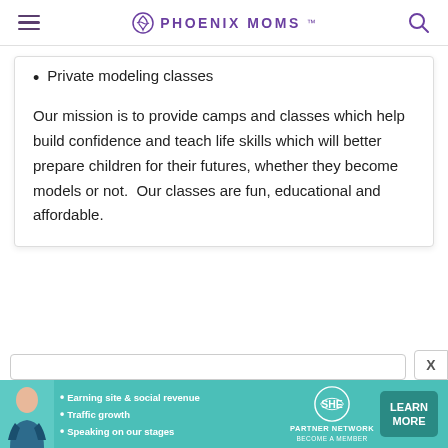PHOENIX MOMS
Private modeling classes
Our mission is to provide camps and classes which help build confidence and teach life skills which will better prepare children for their futures, whether they become models or not.  Our classes are fun, educational and affordable.
[Figure (infographic): SHE Partner Network advertisement banner with photo, bullet points (Earning site & social revenue, Traffic growth, Speaking on our stages), SHE logo, and LEARN MORE button]